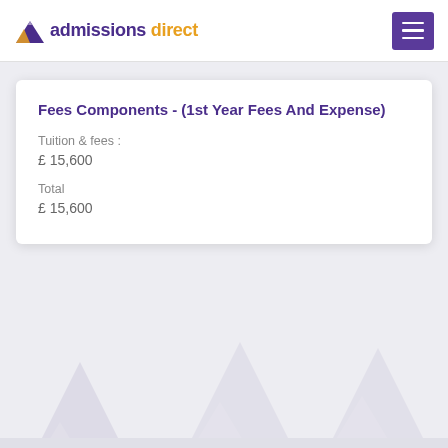[Figure (logo): Admissions Direct logo with purple triangle icon and text 'admissions direct' where 'direct' is in orange]
Fees Components - (1st Year Fees And Expense)
Tuition & fees :
£ 15,600
Total
£ 15,600